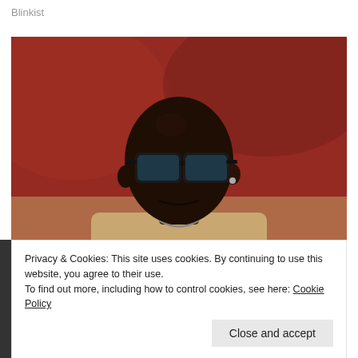Blinkist
[Figure (photo): A bald man wearing dark sunglasses and a gold/tan blazer with a chain necklace, photographed at what appears to be a sporting event with a blurred red background.]
Privacy & Cookies: This site uses cookies. By continuing to use this website, you agree to their use.
To find out more, including how to control cookies, see here: Cookie Policy
Close and accept